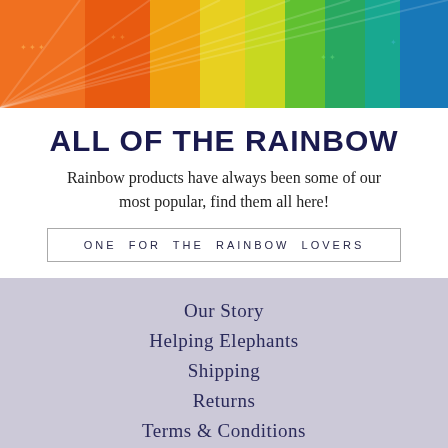[Figure (photo): Rainbow colored fabric pieces fanned out from orange to teal/blue, showing various batik textile patterns]
ALL OF THE RAINBOW
Rainbow products have always been some of our most popular, find them all here!
ONE FOR THE RAINBOW LOVERS
Our Story
Helping Elephants
Shipping
Returns
Terms & Conditions
Contact Us